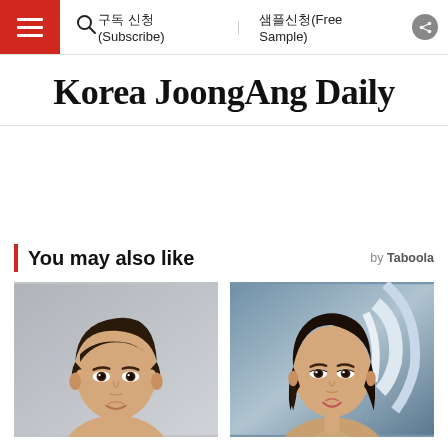Korea JoongAng Daily — navigation bar with hamburger menu, search icon, 구독 신청(Subscribe), 샘플신청(Free Sample), share button
Korea JoongAng Daily
You may also like
by Taboola
[Figure (photo): Headshot of young Asian male actor with dark hair]
Actor Kim Dong-hee
[Figure (photo): Photo of Asian woman, Oh Yoon-ha, at an event with blue background]
Oh Yoon-ha, husband